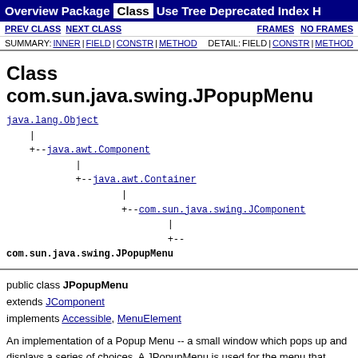Overview | Package | Class | Use | Tree | Deprecated | Index | H
PREV CLASS   NEXT CLASS   FRAMES   NO FRAMES
SUMMARY: INNER | FIELD | CONSTR | METHOD   DETAIL: FIELD | CONSTR | METHOD
Class com.sun.java.swing.JPopupMenu
java.lang.Object
    |
    +--java.awt.Component
            |
            +--java.awt.Container
                    |
                    +--com.sun.java.swing.JComponent
                            |
                            +--com.sun.java.swing.JPopupMenu
public class JPopupMenu
extends JComponent
implements Accessible, MenuElement
An implementation of a Popup Menu -- a small window which pops up and displays a series of choices. A JPopupMenu is used for the menu that appears when the user selects an item on the menu bar. It is also used for "pull-right" menu that appears when the